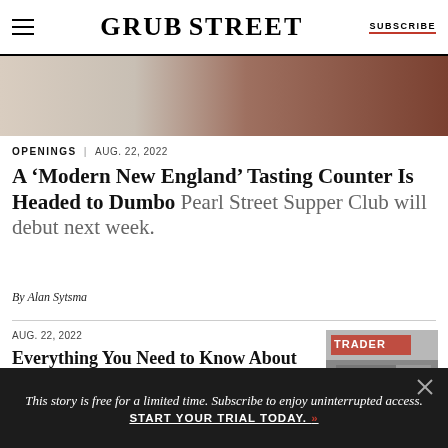GRUB STREET | SUBSCRIBE
[Figure (photo): Partial view of a restaurant interior showing warm-toned walls and wooden elements]
OPENINGS | AUG. 22, 2022
A ‘Modern New England’ Tasting Counter Is Headed to Dumbo Pearl Street Supper Club will debut next week.
By Alan Sytsma
AUG. 22, 2022
Everything You Need to Know About the Closing of the Trader Joe’s Wine Store
[Figure (photo): Street-level view of a Trader Joe's store front with people outside]
This story is free for a limited time. Subscribe to enjoy uninterrupted access. START YOUR TRIAL TODAY.